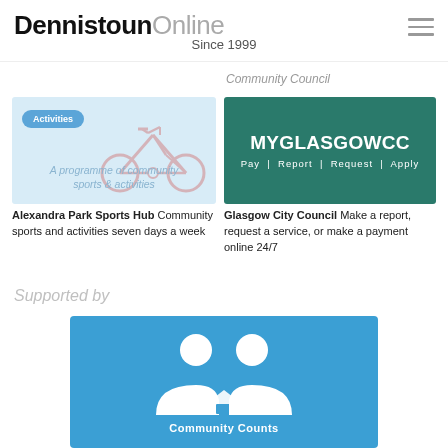DennistounOnline Since 1999
Community Council
[Figure (illustration): Alexandra Park Sports Hub - Activities badge with bicycle illustration and text 'A programme of community sports & activities' on light blue background]
Alexandra Park Sports Hub Community sports and activities seven days a week
[Figure (illustration): Glasgow City Council MYGLASGOWCC green branded card: Pay | Report | Request | Apply]
Glasgow City Council Make a report, request a service, or make a payment online 24/7
Supported by
[Figure (logo): Community Counts logo - two white person icons on blue background with text 'Community Counts']